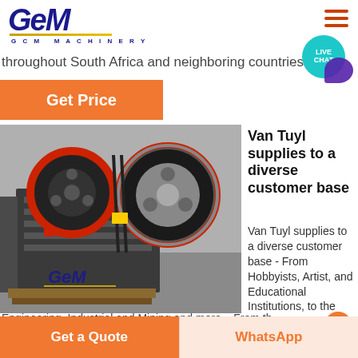[Figure (logo): GCM Machinery logo with blue italic GCM text, gold underline, and G C M MACHINERY subtitle]
throughout South Africa and neighboring countries.
Get Price
[Figure (photo): Industrial jaw crusher machine with large black and red belt drive wheels, photographed in a facility]
Van Tuyl supplies to a diverse customer base
Van Tuyl supplies to a diverse customer base - From Hobbyists, Artist, and Educational Institutions, to the
Engineering, Industrial and Mining and more... From the
Get a Quote
WhatsApp